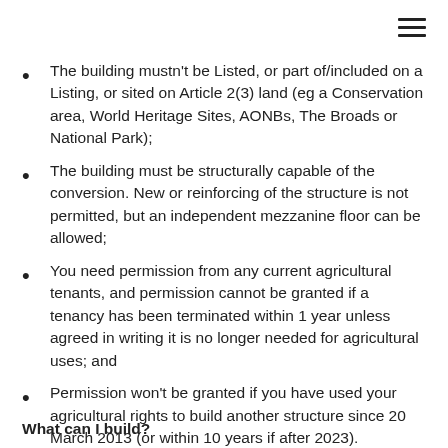The building mustn't be Listed, or part of/included on a Listing, or sited on Article 2(3) land (eg a Conservation area, World Heritage Sites, AONBs, The Broads or National Park);
The building must be structurally capable of the conversion. New or reinforcing of the structure is not permitted, but an independent mezzanine floor can be allowed;
You need permission from any current agricultural tenants, and permission cannot be granted if a tenancy has been terminated within 1 year unless agreed in writing it is no longer needed for agricultural uses; and
Permission won't be granted if you have used your agricultural rights to build another structure since 20 March 2013 (or within 10 years if after 2023).
What can I build?